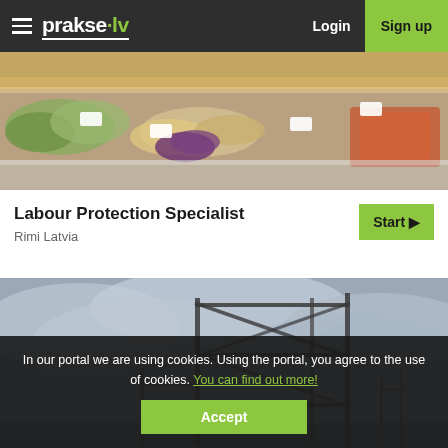prakse·lv Login Sign up
[Figure (photo): Photo of a supermarket deli/food counter with various cheese, salads, and prepared foods displayed in a refrigerated glass case]
Labour Protection Specialist
Rimi Latvia
[Figure (photo): Photo of a construction scaffolding structure against a cloudy grey sky]
In our portal we are using cookies. Using the portal, you agree to the use of cookies. You can find out more!
Accept